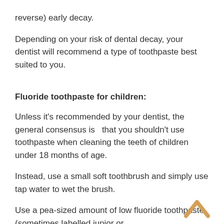reverse) early decay.
Depending on your risk of dental decay, your dentist will recommend a type of toothpaste best suited to you.
Fluoride toothpaste for children:
Unless it's recommended by your dentist, the general consensus is   that you shouldn't use toothpaste when cleaning the teeth of children under 18 months of age.
Instead, use a small soft toothbrush and simply use tap water to wet the brush.
Use a pea-sized amount of low fluoride toothpaste (sometimes labelled junior or